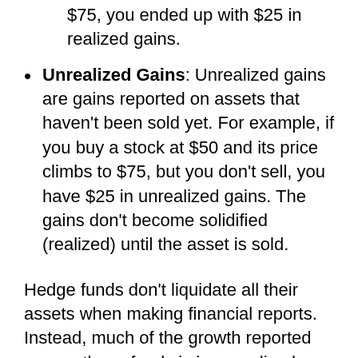$75, you ended up with $25 in realized gains.
Unrealized Gains: Unrealized gains are gains reported on assets that haven't been sold yet. For example, if you buy a stock at $50 and its price climbs to $75, but you don't sell, you have $25 in unrealized gains. The gains don't become solidified (realized) until the asset is sold.
Hedge funds don't liquidate all their assets when making financial reports. Instead, much of the growth reported among these funds is in unrealized gains.
That creates a big problem.